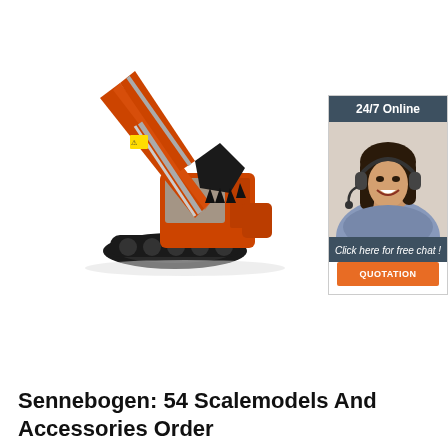[Figure (photo): Orange hydraulic excavator / crawler excavator photographed on white background, showing boom, arm, bucket, and undercarriage tracks.]
[Figure (infographic): Customer service chat widget showing '24/7 Online' header, photo of smiling woman with headset, 'Click here for free chat!' text, and orange 'QUOTATION' button.]
Sennebogen: 54 Scalemodels And Accessories Order